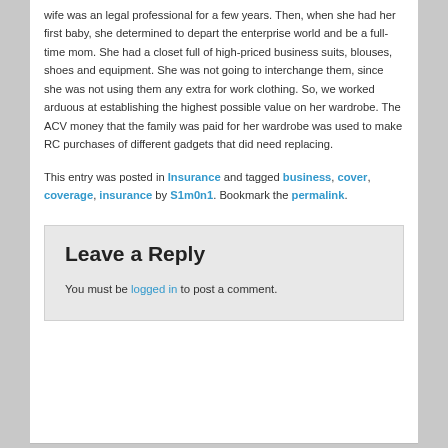wife was an legal professional for a few years. Then, when she had her first baby, she determined to depart the enterprise world and be a full-time mom. She had a closet full of high-priced business suits, blouses, shoes and equipment. She was not going to interchange them, since she was not using them any extra for work clothing. So, we worked arduous at establishing the highest possible value on her wardrobe. The ACV money that the family was paid for her wardrobe was used to make RC purchases of different gadgets that did need replacing.
This entry was posted in Insurance and tagged business, cover, coverage, insurance by S1m0n1. Bookmark the permalink.
Leave a Reply
You must be logged in to post a comment.